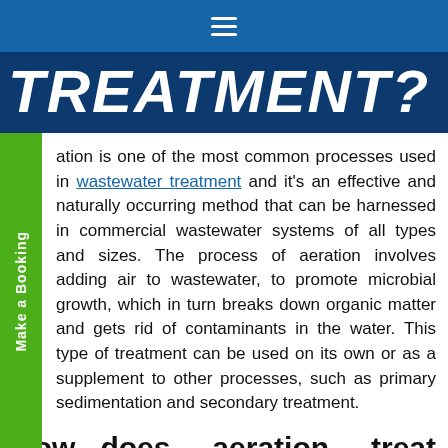≡
TREATMENT?
ation is one of the most common processes used in wastewater treatment and it's an effective and naturally occurring method that can be harnessed in commercial wastewater systems of all types and sizes. The process of aeration involves adding air to wastewater, to promote microbial growth, which in turn breaks down organic matter and gets rid of contaminants in the water. This type of treatment can be used on its own or as a supplement to other processes, such as primary sedimentation and secondary treatment.
How does aeration treat wastewater?